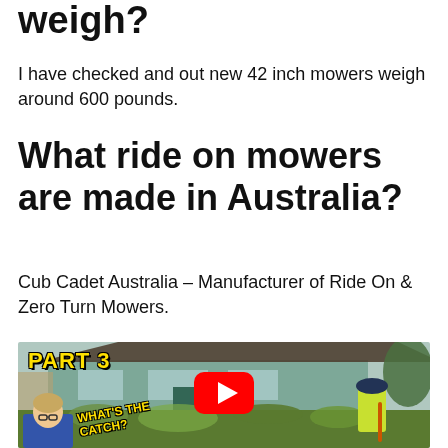weigh?
I have checked and out new 42 inch mowers weigh around 600 pounds.
What ride on mowers are made in Australia?
Cub Cadet Australia – Manufacturer of Ride On & Zero Turn Mowers.
[Figure (screenshot): YouTube video thumbnail showing a person in a yellow hi-vis shirt with a string trimmer, standing in front of an overgrown house. Text overlay reads 'PART 3' in yellow, 'WHAT'S THE CATCH?' in yellow diagonal text, and a woman in a blue shirt is visible bottom left. A red YouTube play button is in the center.]